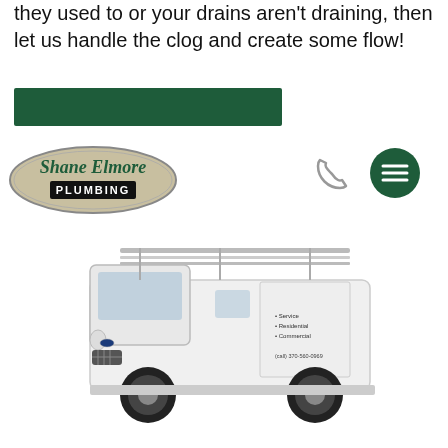they used to or your drains aren't draining, then let us handle the clog and create some flow!
[Figure (other): Dark green horizontal bar/button element]
[Figure (logo): Shane Elmore Plumbing logo — oval shape with tan/khaki background, cursive green 'Shane Elmore' text and black 'PLUMBING' block text]
[Figure (other): Gray telephone/phone handset icon]
[Figure (other): Dark green circle with white hamburger menu (three horizontal lines) icon]
[Figure (photo): White Ford Transit plumbing work van with ladder rack on top, Shane Elmore Plumbing branding on the side, parked/photographed on white background]